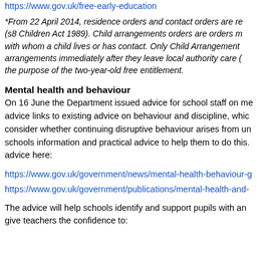https://www.gov.uk/free-early-education
*From 22 April 2014, residence orders and contact orders are replaced by child arrangements orders (s8 Children Act 1989). Child arrangements orders are orders made by a court about with whom a child lives or has contact. Only Child Arrangements orders that deal with arrangements immediately after they leave local authority care (i.e. the living arrangements) for the purpose of the two-year-old free entitlement.
Mental health and behaviour
On 16 June the Department issued advice for school staff on mental health and behaviour. The advice links to existing advice on behaviour and discipline, which now includes a requirement to consider whether continuing disruptive behaviour arises from unmet mental health needs, and gives schools information and practical advice to help them to do this. You can find the advice here:
https://www.gov.uk/government/news/mental-health-behaviour-g
https://www.gov.uk/government/publications/mental-health-and-
The advice will help schools identify and support pupils with an unmet mental health need and give teachers the confidence to: